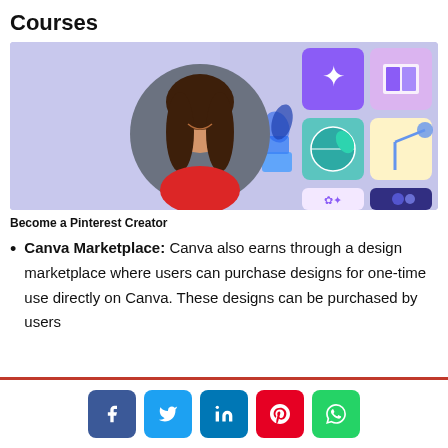Courses
[Figure (illustration): A promotional banner for a Pinterest Creator course featuring a smiling woman with long brown hair in a red shirt, with a circular photo crop on a light purple background with colorful design element icons]
Become a Pinterest Creator
Canva Marketplace: Canva also earns through a design marketplace where users can purchase designs for one-time use directly on Canva. These designs can be purchased by users
Social share buttons: Facebook, Twitter, LinkedIn, Pinterest, WhatsApp